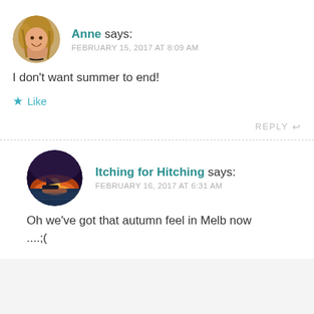[Figure (photo): Round avatar photo of Anne, a woman with blonde hair smiling]
Anne says:
FEBRUARY 15, 2017 AT 8:09 AM
I don't want summer to end!
★ Like
REPLY ↩
[Figure (photo): Round avatar photo of Itching for Hitching, showing a sunset over water with a boat]
Itching for Hitching says:
FEBRUARY 16, 2017 AT 6:31 AM
Oh we've got that autumn feel in Melb now ....;(